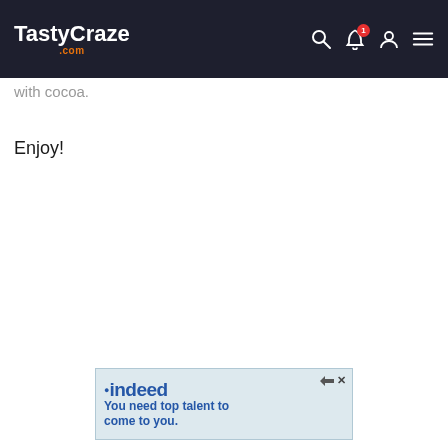TastyCraze.com
with cocoa.
Enjoy!
[Figure (screenshot): Indeed advertisement banner: 'You need top talent to come to you']